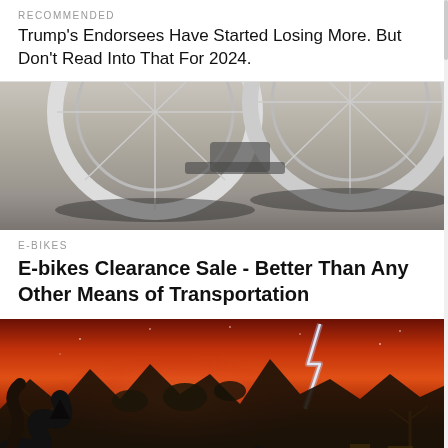RECOMMENDED
Trump's Endorsees Have Started Losing More. But Don't Read Into That For 2024.
[Figure (photo): Close-up photo of a white e-bike wheel on sandy/dirt ground]
E-BIKES
E-bikes Clearance Sale - Better Than Any Other Means of Transportation
[Figure (illustration): Fantasy/animated scene with a red stormy sky, lightning bolt, dark monster tentacles and silhouettes of rocky terrain and dead trees]